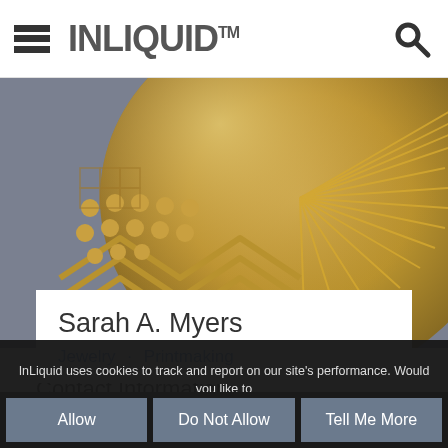INLIQUID™
[Figure (photo): Close-up photo of a metallic jewelry piece with engraved geometric and dotted patterns, fan-like ridges and zigzag motifs in gold/bronze tones]
Sarah A. Myers
Jewelry · Printmaking
Contact Information
sarahnprint@aol.com
InLiquid uses cookies to track and report on our site's performance. Would you like to Allow?
Allow
Do Not Allow
Tell Me More